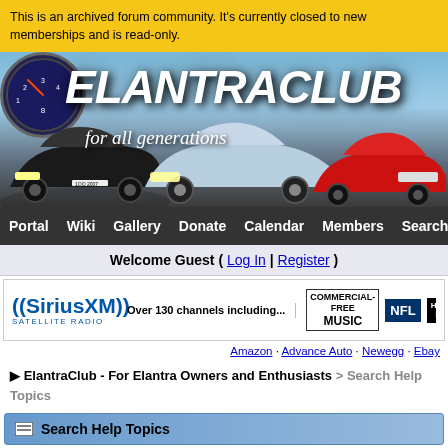This is an archived forum community. It's currently closed to new memberships and is read-only.
[Figure (photo): ElantraClub banner with logo text 'ELANTRACLUB for all generations' and images of Hyundai Elantra cars and a gauge cluster]
Portal | Wiki | Gallery | Donate | Calendar | Members | Search | Help | Arcade
Welcome Guest ( Log In | Register )
[Figure (infographic): SiriusXM Satellite Radio advertisement banner showing 'Over 130 channels including...' with logos for Commercial-Free Music, NFL, Howard Stern, Martha Stewart Living Radio, and NPR]
Amazon · Advance Auto · Newegg · Ebay
▶ ElantraClub - For Elantra Owners and Enthusiasts > Search Help Topics
Search Help Topics